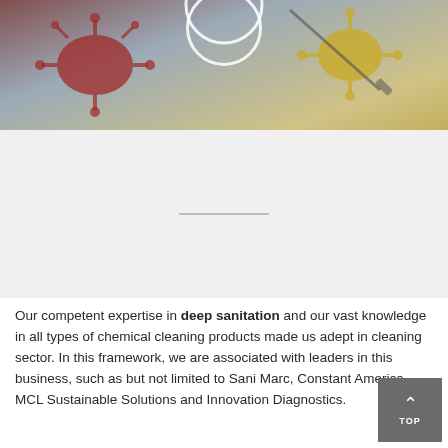[Figure (photo): Photo showing virus/germ illustrations in red and yellow against a blue-gray background, with a white circle outline overlay at the top center.]
Our competent expertise in deep sanitation and our vast knowledge in all types of chemical cleaning products made us adept in cleaning sector. In this framework, we are associated with leaders in this business, such as but not limited to Sani Marc, Constant America, MCL Sustainable Solutions and Innovation Diagnostics.